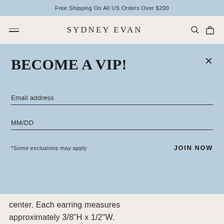Free Shipping On All US Orders Over $200
SYDNEY EVAN
BECOME A VIP!
Email address
MM/DD
*Some exclusions may apply
JOIN NOW
center. Each earring measures approximately 3/8"H x 1/2"W.
The evil eye is an ancient symbol, most